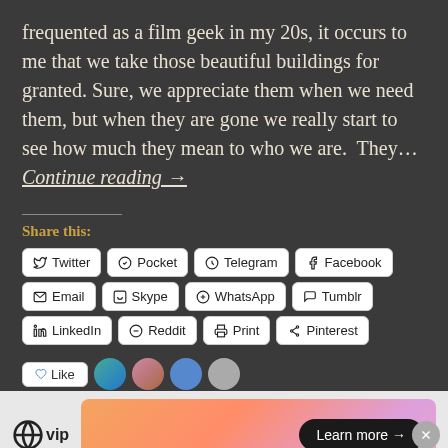frequented as a film geek in my 20s, it occurs to me that we take those beautiful buildings for granted. Sure, we appreciate them when we need them, but when they are gone we really start to see how much they mean to who we are.  They…  Continue reading →
Share this:
Twitter  Pocket  Telegram  Facebook  Email  Skype  WhatsApp  Tumblr  LinkedIn  Reddit  Print  Pinterest
[Figure (screenshot): Like button and avatar thumbnails row]
[Figure (screenshot): WordPress VIP advertisement banner with Learn more button]